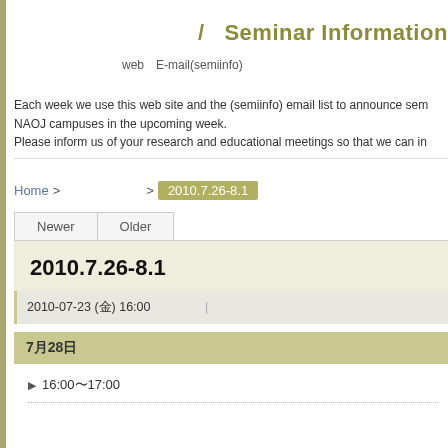/ Seminar Information
webのE-mail(semiinfo)　　　　　　　
　　　　　　　　　　　　　　　　　　　　
Each week we use this web site and the (semiinfo) email list to announce sem NAOJ campuses in the upcoming week.
Please inform us of your research and educational meetings so that we can in
Home > 　　　　　　　　　 > 2010.7.26-8.1
Newer   Older
2010.7.26-8.1
2010-07-23 (金) 16:00
7月28日（水）
▶ 16:00〜17:00